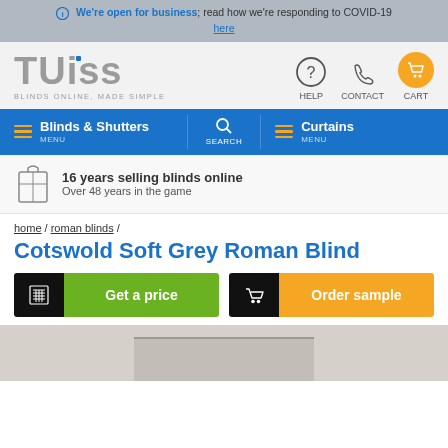We're open for business; read how we're responding to COVID-19 here
[Figure (logo): Tuiss Blinds Online Made Simple logo with navigation icons for Help, Contact, Cart]
[Figure (infographic): Navigation bar with Blinds & Shutters menu, Search, Curtains menu]
16 years selling blinds online
Over 48 years in the game
home / roman blinds /
Cotswold Soft Grey Roman Blind
Get a price
Order sample
[Figure (photo): Product photo of Cotswold Soft Grey Roman Blind fabric texture]